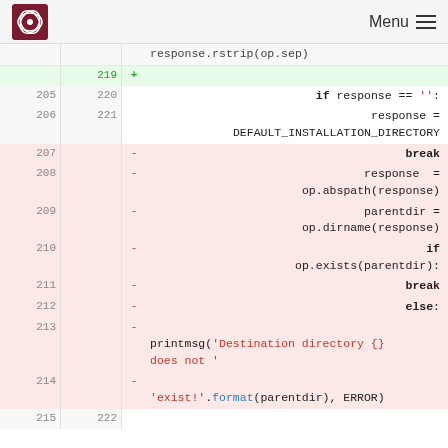Menu
response.rstrip(op.sep)
| old | new | diff | code |
| --- | --- | --- | --- |
|  | 219 | + |  |
| 205 | 220 |  | if response == '': |
| 206 | 221 |  | response =
DEFAULT_INSTALLATION_DIRECTORY |
| 207 |  | - | break |
| 208 |  | - | response =
op.abspath(response) |
| 209 |  | - | parentdir =
op.dirname(response) |
| 210 |  | - | if
op.exists(parentdir): |
| 211 |  | - | break |
| 212 |  | - | else: |
| 213 |  | - | printmsg('Destination directory {}
does not ' |
| 214 |  | - | 'exist!'.format(parentdir), ERROR) |
| 215 | 222 |  |  |